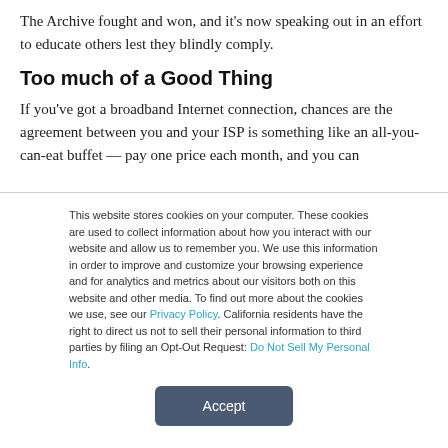The Archive fought and won, and it's now speaking out in an effort to educate others lest they blindly comply.
Too much of a Good Thing
If you've got a broadband Internet connection, chances are the agreement between you and your ISP is something like an all-you-can-eat buffet — pay one price each month, and you can
This website stores cookies on your computer. These cookies are used to collect information about how you interact with our website and allow us to remember you. We use this information in order to improve and customize your browsing experience and for analytics and metrics about our visitors both on this website and other media. To find out more about the cookies we use, see our Privacy Policy. California residents have the right to direct us not to sell their personal information to third parties by filing an Opt-Out Request: Do Not Sell My Personal Info.
Accept